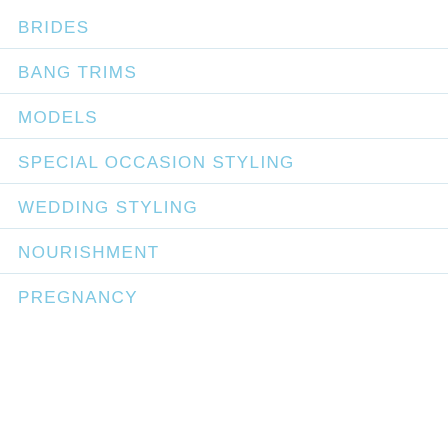BRIDES
BANG TRIMS
MODELS
SPECIAL OCCASION STYLING
WEDDING STYLING
NOURISHMENT
PREGNANCY